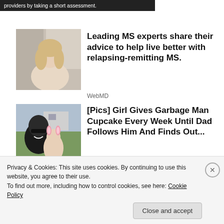[Figure (screenshot): Top dark banner with white text: 'providers by taking a short assessment.']
[Figure (photo): Photo of a woman with blonde hair leaning back, wearing a beige top]
Leading MS experts share their advice to help live better with relapsing-remitting MS.
WebMD
[Figure (photo): Photo of a man with sunglasses and a young girl with pink bunny ears outdoors]
[Pics] Girl Gives Garbage Man Cupcake Every Week Until Dad Follows Him And Finds Out...
HealthyGem
Privacy & Cookies: This site uses cookies. By continuing to use this website, you agree to their use.
To find out more, including how to control cookies, see here: Cookie Policy
Close and accept